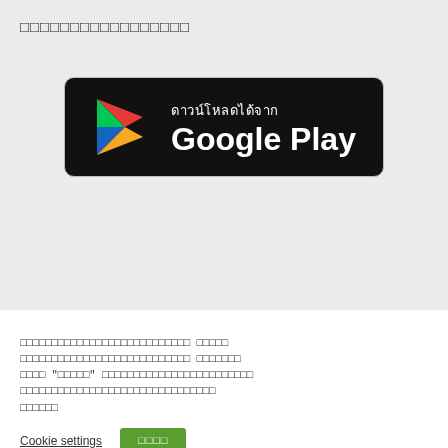□□□□□□□□□□□□□□□□□
[Figure (logo): Google Play Store download badge with Thai text 'ดาวน์โหลดได้จาก Google Play' on black background with Play Store triangle logo]
□□□□□□□□□□□□□□□□□□□□□□□□□□□ □□□□□ □□□□□□□□□□□□□□□□□□□□□□□□□□□ □□□□□□□ □□□□ "□□□□□" □□□□□□□□□□□□□□□□□□□□□□□□ □□□□□□□□□□□□□□□□□□□□□□□□□□□□□□□ □□□□□□
Cookie settings  □□□□